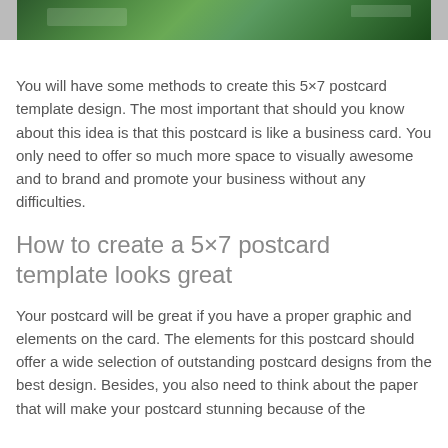[Figure (photo): Partial top view of a postcard template featuring a nature/landscape photo with green trees and water, shown cropped at top of page.]
You will have some methods to create this 5×7 postcard template design. The most important that should you know about this idea is that this postcard is like a business card. You only need to offer so much more space to visually awesome and to brand and promote your business without any difficulties.
How to create a 5×7 postcard template looks great
Your postcard will be great if you have a proper graphic and elements on the card. The elements for this postcard should offer a wide selection of outstanding postcard designs from the best design. Besides, you also need to think about the paper that will make your postcard stunning because of the